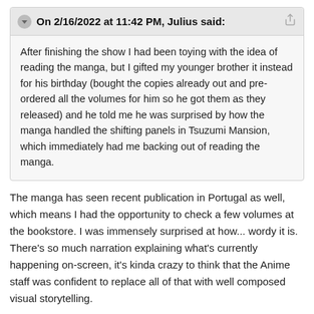On 2/16/2022 at 11:42 PM, Julius said:
After finishing the show I had been toying with the idea of reading the manga, but I gifted my younger brother it instead for his birthday (bought the copies already out and pre-ordered all the volumes for him so he got them as they released) and he told me he was surprised by how the manga handled the shifting panels in Tsuzumi Mansion, which immediately had me backing out of reading the manga.
The manga has seen recent publication in Portugal as well, which means I had the opportunity to check a few volumes at the bookstore. I was immensely surprised at how... wordy it is. There's so much narration explaining what's currently happening on-screen, it's kinda crazy to think that the Anime staff was confident to replace all of that with well composed visual storytelling.
A couple of Season 1 examples (Reveal hidden contents)
On a lighter note, during this Season 2, I occasionally conversed with